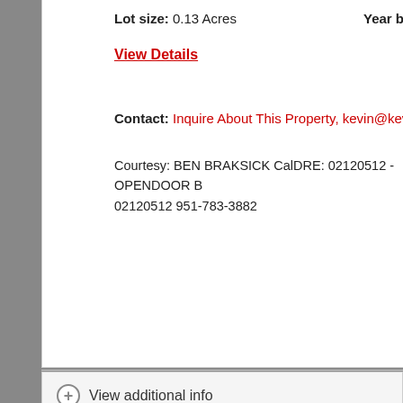Lot size: 0.13 Acres   Year b
View Details
Contact: Inquire About This Property, kevin@kevinenriquez.com
Courtesy: BEN BRAKSICK CalDRE: 02120512 - OPENDOOR B 02120512 951-783-3882
View additional info
$75,000   27150 Shadel Road #52 Menifee, CA 92586
[Figure (photo): Exterior photo of property with blue sky and palm tree silhouette]